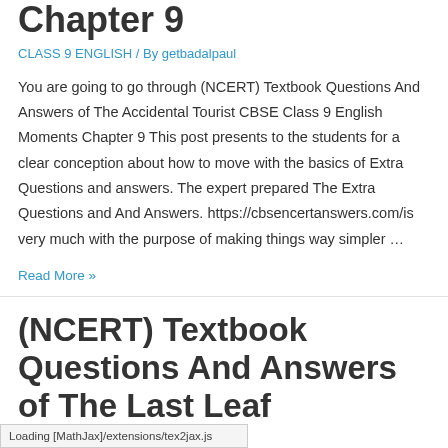Chapter 9
CLASS 9 ENGLISH / By getbadalpaul
You are going to go through (NCERT) Textbook Questions And Answers of The Accidental Tourist CBSE Class 9 English Moments Chapter 9 This post presents to the students for a clear conception about how to move with the basics of Extra Questions and answers. The expert prepared The Extra Questions and And Answers. https://cbsencertanswers.com/is very much with the purpose of making things way simpler …
Read More »
(NCERT) Textbook Questions And Answers of The Last Leaf … English